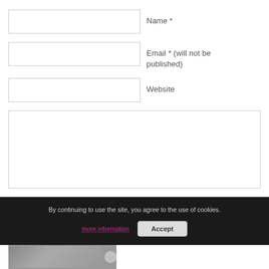Name *
Email * (will not be published)
Website
[Figure (screenshot): Large text area input box for comment/message entry]
By continuing to use the site, you agree to the use of cookies.
more information
Accept
[Figure (photo): Partial image strip at bottom of page with a circular icon]